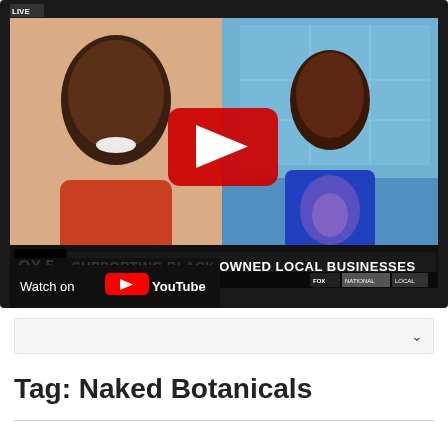[Figure (screenshot): YouTube embedded video thumbnail showing a FOX 5 news segment. Left half shows a smiling Black woman in an orange top on a video call background. Right half shows a female news anchor in a blue dress at a news desk with a city background. A YouTube play button is overlaid in the center. Lower banner reads 'OX 5 SUPPORTING BLACK OWNED LOCAL BUSINESSES' with FOX NATIONAL LOCAL tabs. Bottom bar reads 'Watch on YouTube'.]
Tag: Naked Botanicals